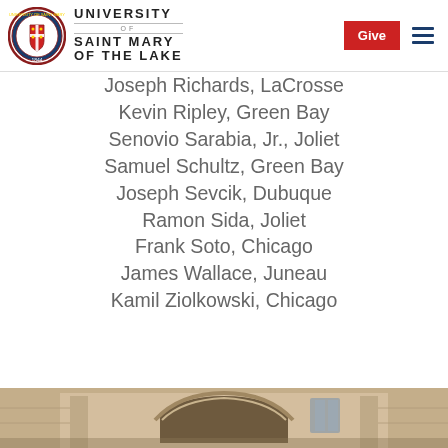University of Saint Mary of the Lake — Give
Joseph Richards, LaCrosse
Kevin Ripley, Green Bay
Senovio Sarabia, Jr., Joliet
Samuel Schultz, Green Bay
Joseph Sevcik, Dubuque
Ramon Sida, Joliet
Frank Soto, Chicago
James Wallace, Juneau
Kamil Ziolkowski, Chicago
[Figure (photo): Interior architectural photo of a building with arched stonework and windows]